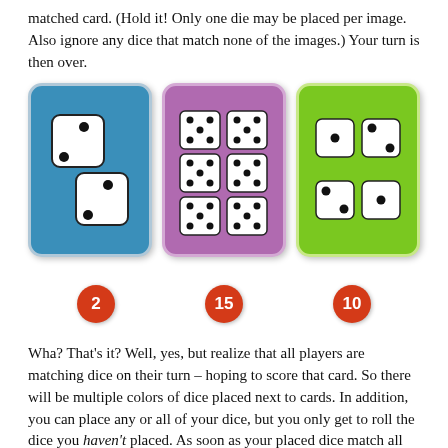matched card. (Hold it! Only one die may be placed per image. Also ignore any dice that match none of the images.) Your turn is then over.
[Figure (illustration): Three game cards side by side: a blue card showing two dice (values 2 and 2) with badge '2', a purple card showing six dice (five-pip pattern) with badge '15', and a green card showing four dice (two-pip pattern) with badge '10'.]
Wha? That's it? Well, yes, but realize that all players are matching dice on their turn – hoping to score that card. So there will be multiple colors of dice placed next to cards. In addition, you can place any or all of your dice, but you only get to roll the dice you haven't placed. As soon as your placed dice match all the dice images on that card, you score it! Take the card and place it in front of you. Then flip over a new card from the deck. All the scored dice that were placed on that card are returned to your pool (and other players' pools. Sorry, Charlie!) and you can